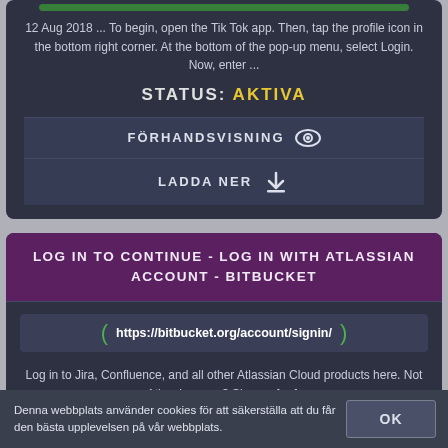12 Aug 2018 ... To begin, open the Tik Tok app. Then, tap the profile icon in the bottom right corner. At the bottom of the pop-up menu, select Login. Now, enter ...
STATUS: AKTIVA
FÖRHANDSVISNING
LADDA NER
LOG IN TO CONTINUE - LOG IN WITH ATLASSIAN ACCOUNT - BITBUCKET
https://bitbucket.org/account/signin/
Log in to Jira, Confluence, and all other Atlassian Cloud products here. Not an Atlassian user? Sign up for free.
Denna webbplats använder cookies för att säkerställa att du får den bästa upplevelsen på vår webbplats.